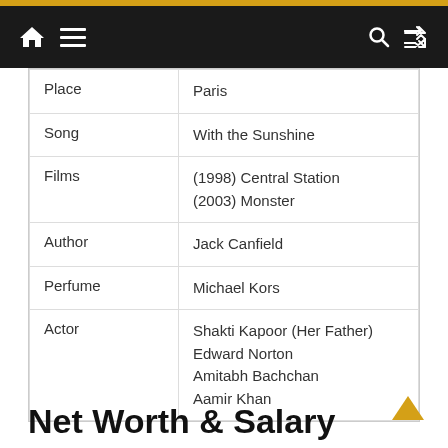Navigation bar with home, menu, search, shuffle icons
| Place | Paris |
| Song | With the Sunshine |
| Films | (1998) Central Station
(2003) Monster |
| Author | Jack Canfield |
| Perfume | Michael Kors |
| Actor | Shakti Kapoor (Her Father)
Edward Norton
Amitabh Bachchan
Aamir Khan |
Net Worth & Salary